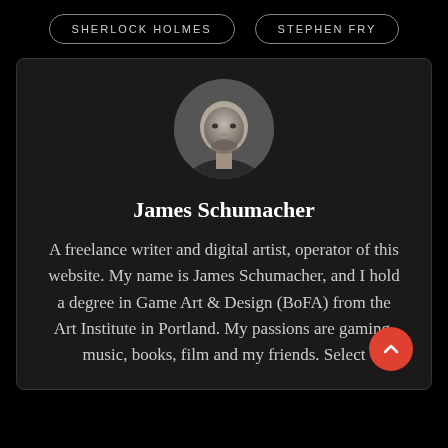SHERLOCK HOLMES
STEPHEN FRY
[Figure (photo): Circular avatar photo of a bald man with a beard, shown in black and white]
James Schumacher
A freelance writer and digital artist, operator of this website. My name is James Schumacher, and I hold a degree in Game Art & Design (BoFA) from the Art Institute in Portland. My passions are gaming, music, books, film and my friends. Select